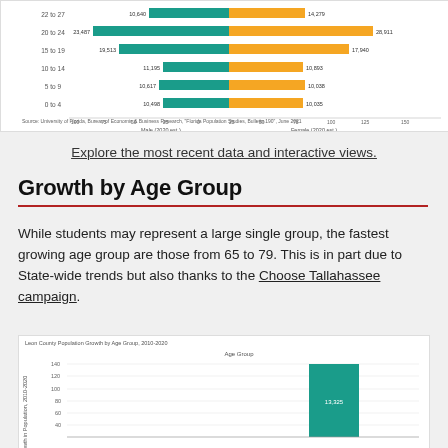[Figure (bar-chart): Horizontal grouped bar chart showing male and female population by age group in Leon County, 2020 estimates. Age groups: 22 to 27, 20 to 24, 13 to 19, 15 to 19, 5 to 9, 0 to 4. Teal bars = Male, Gold bars = Female.]
Explore the most recent data and interactive views.
Growth by Age Group
While students may represent a large single group, the fastest growing age group are those from 65 to 79. This is in part due to State-wide trends but also thanks to the Choose Tallahassee campaign.
[Figure (bar-chart): Vertical bar chart showing growth in population 2010-2020 by age group. A tall teal bar visible at right side is labeled 13,325. Y-axis labeled 'Growth in Population, 2010-2020', x-axis labeled 'Age Group'. Y-axis ticks: 140, 120, 100, 80, 60, 40.]